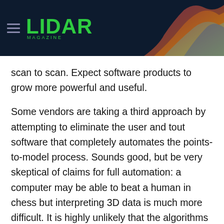LIDAR MAGAZINE
scan to scan. Expect software products to grow more powerful and useful.
Some vendors are taking a third approach by attempting to eliminate the user and tout software that completely automates the points-to-model process. Sounds good, but be very skeptical of claims for full automation: a computer may be able to beat a human in chess but interpreting 3D data is much more difficult. It is highly unlikely that the algorithms will work as desired in all circumstances. Even when they do, it’s often not enough. It will always be important to verify, tweak, or audit results. If the software is not